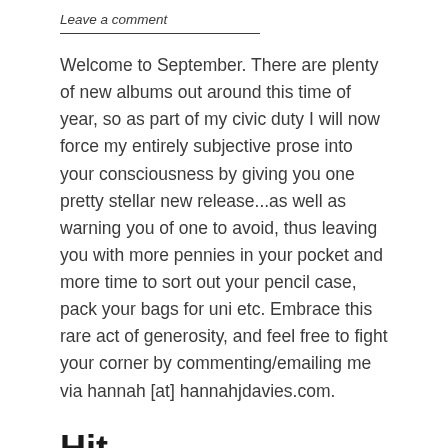Leave a comment
Welcome to September. There are plenty of new albums out around this time of year, so as part of my civic duty I will now force my entirely subjective prose into your consciousness by giving you one pretty stellar new release...as well as warning you of one to avoid, thus leaving you with more pennies in your pocket and more time to sort out your pencil case, pack your bags for uni etc. Embrace this rare act of generosity, and feel free to fight your corner by commenting/emailing me via hannah [at] hannahjdavies.com.
Hit
American Goldwing – Blitzen Trapper (Sub Pop) – out